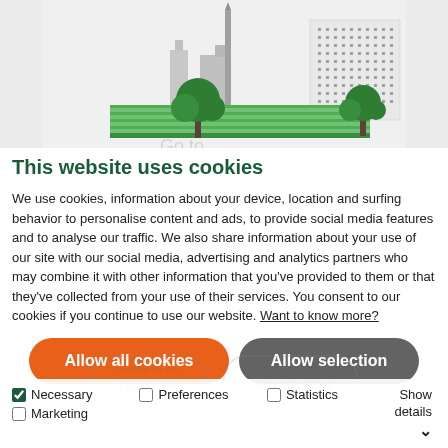[Figure (illustration): City skyline illustration with green trees, buildings, and a green striped road/ground strip]
This website uses cookies
We use cookies, information about your device, location and surfing behavior to personalise content and ads, to provide social media features and to analyse our traffic. We also share information about your use of our site with our social media, advertising and analytics partners who may combine it with other information that you've provided to them or that they've collected from your use of their services. You consent to our cookies if you continue to use our website. Want to know more?
Allow all cookies
Allow selection
Necessary
Preferences
Statistics
Marketing
Show details